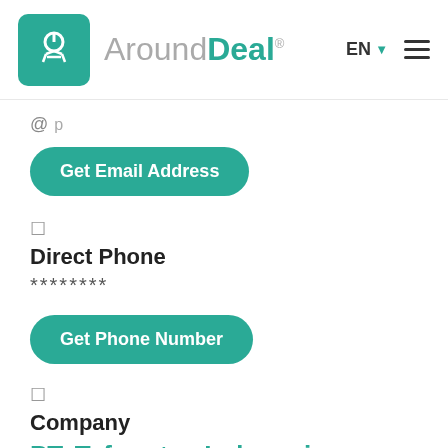[Figure (logo): AroundDeal logo with teal icon and brand name]
@ ...
Get Email Address
□
Direct Phone
********
Get Phone Number
□
Company
PT. Tyfountex Indonesia
□